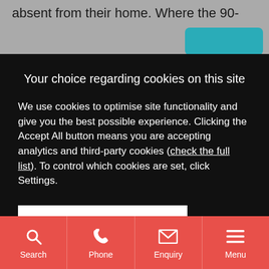absent from their home. Where the 90-
Your choice regarding cookies on this site
We use cookies to optimise site functionality and give you the best possible experience. Clicking the Accept All button means you are accepting analytics and third-party cookies (check the full list). To control which cookies are set, click Settings.
[Figure (screenshot): Accept All button (white background, black bold text) and Settings button (white text on dark background)]
Search | Phone | Enquiry | Menu